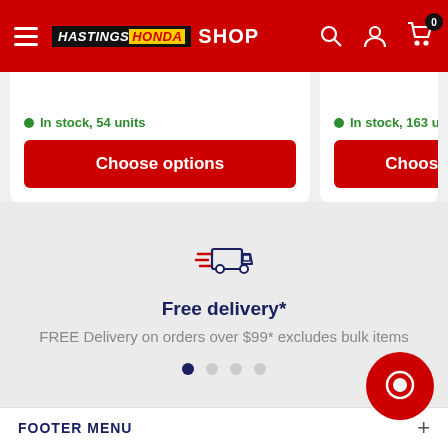HASTINGS HONDA SHOP
In stock, 54 units
Choose options
In stock, 163 units
Choose options
[Figure (illustration): Delivery truck icon with speed lines in dark navy blue]
Free delivery*
FREE Delivery on orders over $99* excludes bulk items
FOOTER MENU